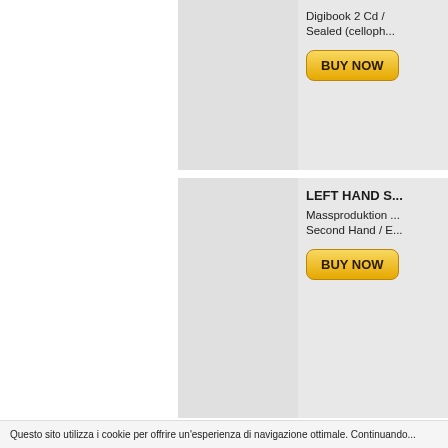Digibook 2 Cd / ...
Sealed (celloph...
BUY NOW
LEFT HAND S...
Massproduktion ...
Second Hand / E...
BUY NOW
LEIF EDLING ...
Digipack / Gmr ...
Questo sito utilizza i cookie per offrire un'esperienza di navigazione ottimale. Continuando...